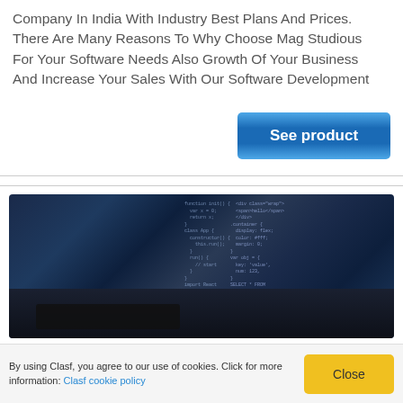Company In India With Industry Best Plans And Prices. There Are Many Reasons To Why Choose Mag Studious For Your Software Needs Also Growth Of Your Business And Increase Your Sales With Our Software Development
See product
[Figure (photo): Dark background photo of computer monitors displaying code in a development environment, with a keyboard/laptop in the foreground on a desk]
By using Clasf, you agree to our use of cookies. Click for more information: Clasf cookie policy
Close